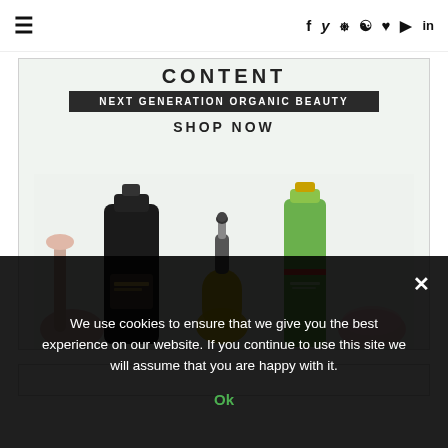≡  f  twitter  instagram  pinterest  ♥  youtube  in
[Figure (illustration): Advertisement for organic beauty products. Shows text 'CONTENT', banner 'NEXT GENERATION ORGANIC BEAUTY', 'SHOP NOW', with illustrated cosmetic bottles and products on a light green/grey background.]
We use cookies to ensure that we give you the best experience on our website. If you continue to use this site we will assume that you are happy with it.
Ok